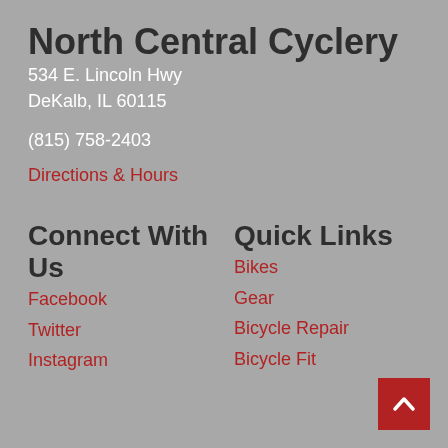North Central Cyclery
534 E. Lincoln Hwy
DeKalb, IL 60115
(815) 758-2403
Directions & Hours
Connect With Us
Facebook
Twitter
Instagram
Quick Links
Bikes
Gear
Bicycle Repair
Bicycle Fit